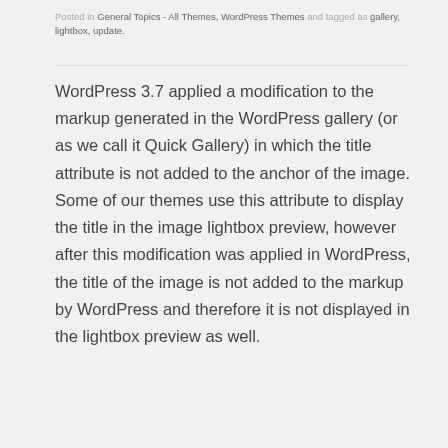Posted in General Topics - All Themes, WordPress Themes and tagged as gallery, lightbox, update.
WordPress 3.7 applied a modification to the markup generated in the WordPress gallery (or as we call it Quick Gallery) in which the title attribute is not added to the anchor of the image. Some of our themes use this attribute to display the title in the image lightbox preview, however after this modification was applied in WordPress, the title of the image is not added to the markup by WordPress and therefore it is not displayed in the lightbox preview as well.